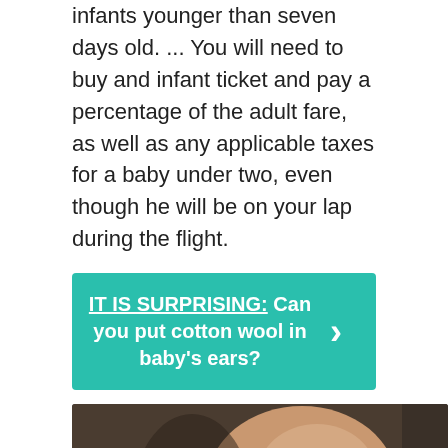infants younger than seven days old. ... You will need to buy and infant ticket and pay a percentage of the adult fare, as well as any applicable taxes for a baby under two, even though he will be on your lap during the flight.
IT IS SURPRISING: Can you put cotton wool in baby's ears?
[Figure (screenshot): Video thumbnail showing a sleeping baby with text overlay 'HOW TO TRAVEL WITH A BABY' and a YouTube play button in the center.]